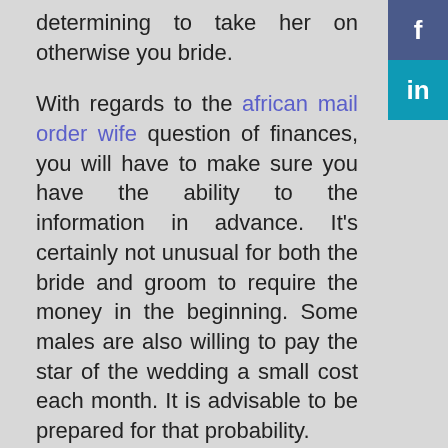determining to take her on otherwise you bride.
With regards to the african mail order wife question of finances, you will have to make sure you have the ability to the information in advance. It’s certainly not unusual for both the bride and groom to require the money in the beginning. Some males are also willing to pay the star of the wedding a small cost each month. It is advisable to be prepared for that probability.
If you don’t have started sending emails yet, now is the time to take action. Is actually never a smart idea to call and get